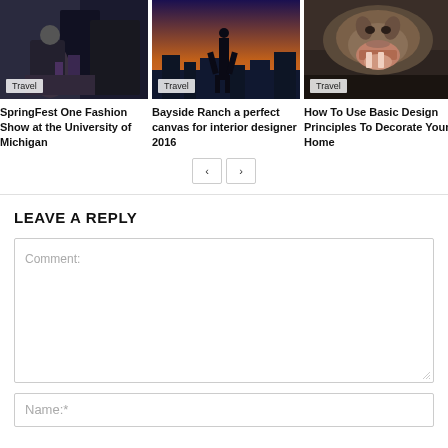[Figure (photo): Person with musical equipment, dark background]
Travel
SpringFest One Fashion Show at the University of Michigan
[Figure (photo): Person standing at sunset in front of building]
Travel
Bayside Ranch a perfect canvas for interior designer 2016
[Figure (photo): Animal (possibly hyena) with open mouth]
Travel
How To Use Basic Design Principles To Decorate Your Home
< >
LEAVE A REPLY
Comment:
Name:*